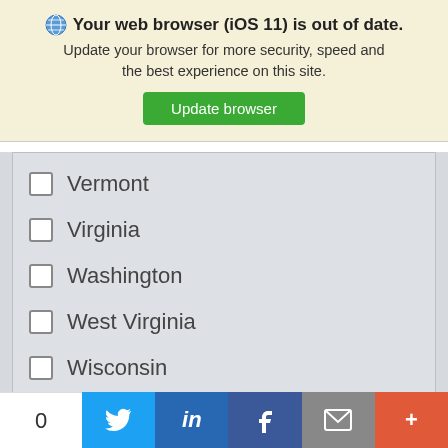🌐 Your web browser (iOS 11) is out of date. Update your browser for more security, speed and the best experience on this site.
Update browser
Vermont
Virginia
Washington
West Virginia
Wisconsin
Wyoming
0  (Twitter) (LinkedIn) (Facebook) (Email) (+)